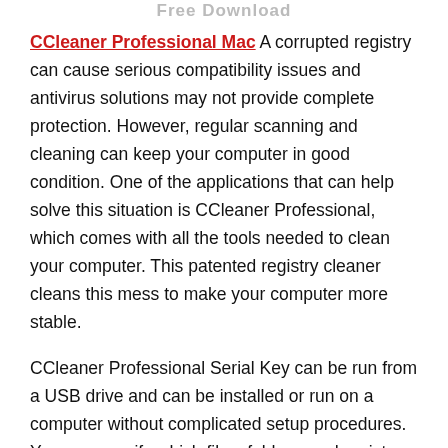Free Download
CCleaner Professional Mac A corrupted registry can cause serious compatibility issues and antivirus solutions may not provide complete protection. However, regular scanning and cleaning can keep your computer in good condition. One of the applications that can help solve this situation is CCleaner Professional, which comes with all the tools needed to clean your computer. This patented registry cleaner cleans this mess to make your computer more stable.
CCleaner Professional Serial Key can be run from a USB drive and can be installed or run on a computer without complicated setup procedures. You can specify which files, folders, and registry entries to ignore during the